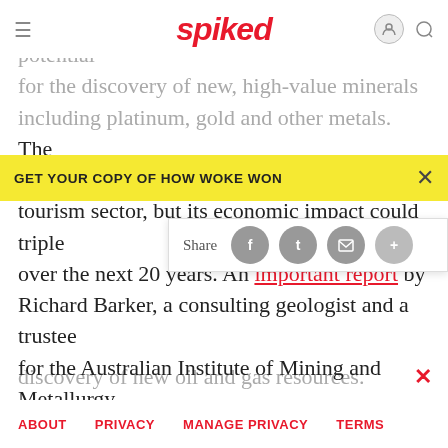spiked
NZ is rich in natural resources and has great potential for the discovery of new, high-value minerals including platinum, gold and other metals. The mining sector in NZ is currently [behind tourism sector], but its economic impact could triple over the next 20 years. An important report by Richard Barker, a consulting geologist and a trustee for the Australian Institute of Mining and Metallurgy, shows that NZ is sitting on a huge amount of valuable natural resources: US$140 billion of metallic minerals, with brown coal alone worth at least an additional US$100 billion. Plus NZ has great potential for the
[Figure (screenshot): Yellow promotional banner reading GET YOUR COPY OF HOW WOKE WON with a close X button]
[Figure (screenshot): Share bar with Share label and social media icon buttons (Facebook, Twitter, Email, Plus)]
discovery of new oil and gas resources.
ABOUT   PRIVACY   MANAGE PRIVACY   TERMS